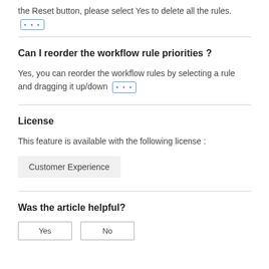the Reset button, please select Yes to delete all the rules. •••
Can I reorder the workflow rule priorities ?
Yes, you can reorder the workflow rules by selecting a rule and dragging it up/down •••
License
This feature is available with the following license :
Customer Experience
Was the article helpful?
Yes
No